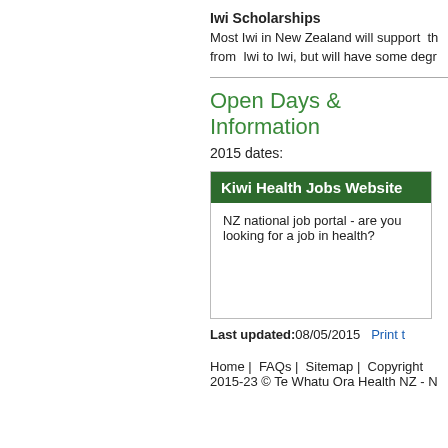Iwi Scholarships
Most Iwi in New Zealand will support  th from  Iwi to Iwi, but will have some degr
Open Days & Information
2015 dates:
[Figure (screenshot): Kiwi Health Jobs Website box with dark green header and text: NZ national job portal - are you looking for a job in health?]
Last updated:08/05/2015   Print t
Home | FAQs | Sitemap | Copyright 2015-23 © Te Whatu Ora Health NZ - N